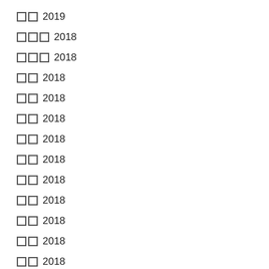□□ 2019
□□□ 2018
□□□ 2018
□□ 2018
□□ 2018
□□ 2018
□□ 2018
□□ 2018
□□ 2018
□□ 2018
□□ 2018
□□ 2018
□□ 2018